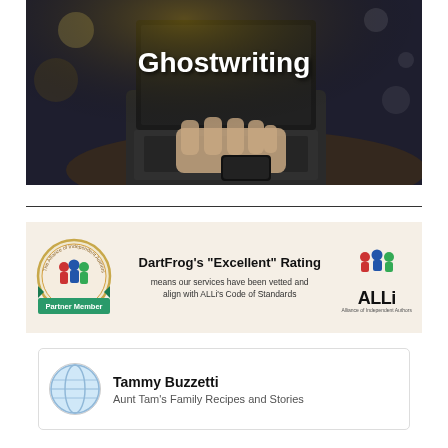[Figure (photo): Person typing on a laptop on a dark wooden table with a smartphone nearby, dark moody background with bokeh effect. White bold text 'Ghostwriting' overlaid in center.]
[Figure (infographic): ALLi (Alliance of Independent Authors) partner member banner. Shows a badge on left labeled 'Partner Member', center text: "DartFrog's 'Excellent' Rating means our services have been vetted and align with ALLi's Code of Standards", and ALLi logo on right.]
Tammy Buzzetti
Aunt Tam's Family Recipes and Stories